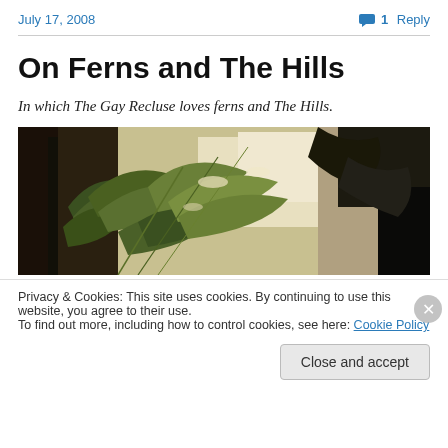July 17, 2008    💬 1 Reply
On Ferns and The Hills
In which The Gay Recluse loves ferns and The Hills.
[Figure (photo): Close-up photograph of fern fronds and leaves with sunlight filtering through, showing green foliage with bright backlit areas]
Privacy & Cookies: This site uses cookies. By continuing to use this website, you agree to their use.
To find out more, including how to control cookies, see here: Cookie Policy
Close and accept